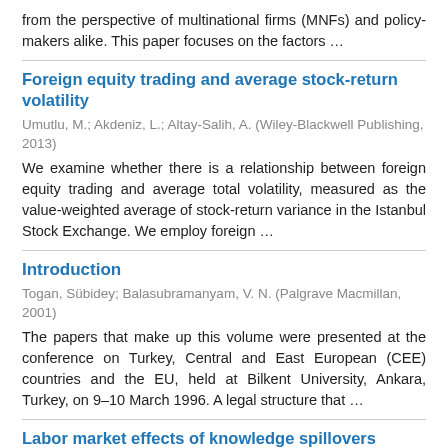from the perspective of multinational firms (MNFs) and policy-makers alike. This paper focuses on the factors …
Foreign equity trading and average stock-return volatility
Umutlu, M.; Akdeniz, L.; Altay-Salih, A. (Wiley-Blackwell Publishing, 2013)
We examine whether there is a relationship between foreign equity trading and average total volatility, measured as the value-weighted average of stock-return variance in the Istanbul Stock Exchange. We employ foreign …
Introduction
Togan, Sübidey; Balasubramanyam, V. N. (Palgrave Macmillan, 2001)
The papers that make up this volume were presented at the conference on Turkey, Central and East European (CEE) countries and the EU, held at Bilkent University, Ankara, Turkey, on 9–10 March 1996. A legal structure that …
Labor market effects of knowledge spillovers
Bayraktar-Sağlam, B.; Sayek, Selin (ODTÜ İİBF, 2010)